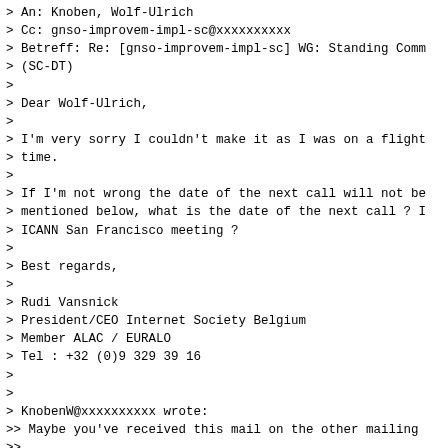> An: Knoben, Wolf-Ulrich
> Cc: gnso-improvem-impl-sc@xxxxxxxxxx
> Betreff: Re: [gnso-improvem-impl-sc] WG: Standing Comm
> (SC-DT)
>
> Dear Wolf-Ulrich,
>
> I'm very sorry I couldn't make it as I was on a flight
> time.
>
> If I'm not wrong the date of the next call will not be
> mentioned below, what is the date of the next call ? I
> ICANN San Francisco meeting ?
>
> Best regards,
>
> Rudi Vansnick
> President/CEO Internet Society Belgium
> Member ALAC / EURALO
> Tel : +32 (0)9 329 39 16
>
>
> KnobenW@xxxxxxxxxx wrote:
>> Maybe you've received this mail on the other mailing
>>
>> I was advised that this list (gnso-improvem-impl-sc@x
>> <BLOCKED::mailto:gnso-improvem-impl-sc@xxxxxxxxxx> ) i
>> should be used for this group. That's why I'm resendi
>> attached.
>>